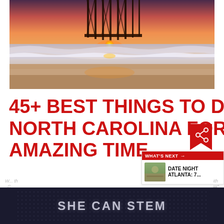[Figure (photo): Beach sunset photo with a pier in the background, waves washing onto shore with orange and pink sky reflected in the wet sand]
45+ BEST THINGS TO DO IN NORTH CAROLINA FOR AN AMAZING TIME
[Figure (screenshot): What's Next widget showing a thumbnail image and text 'WHAT'S NEXT → DATE NIGHT ATLANTA: 7...' with a red share/bookmark icon]
[Figure (infographic): Advertisement banner with dark navy background reading 'SHE CAN STEM' in bold grey uppercase letters]